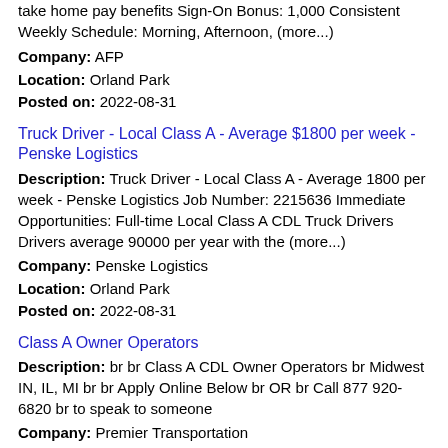take home pay benefits Sign-On Bonus: 1,000 Consistent Weekly Schedule: Morning, Afternoon, (more...)
Company: AFP
Location: Orland Park
Posted on: 2022-08-31
Truck Driver - Local Class A - Average $1800 per week - Penske Logistics
Description: Truck Driver - Local Class A - Average 1800 per week - Penske Logistics Job Number: 2215636 Immediate Opportunities: Full-time Local Class A CDL Truck Drivers Drivers average 90000 per year with the (more...)
Company: Penske Logistics
Location: Orland Park
Posted on: 2022-08-31
Class A Owner Operators
Description: br br Class A CDL Owner Operators br Midwest IN, IL, MI br br Apply Online Below br OR br Call 877 920-6820 br to speak to someone
Company: Premier Transportation
Location: Orland Park
Posted on: 2022-08-31
Account Executive
Description: br br br Account Executive br br Pilot has the best employees in the transportation and logistics industry br br br Why Pilot br ul Salary Commision br Weekly Pay br Hybrid